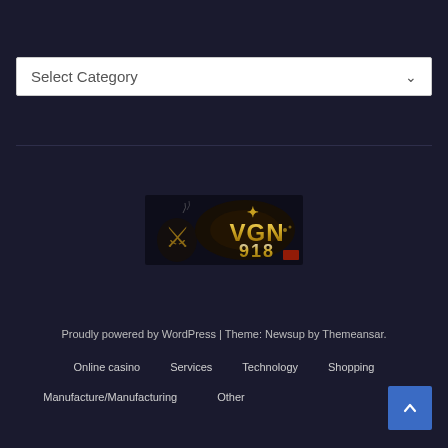Select Category
[Figure (logo): VGN918 gaming logo with golden stylized text and character illustration on dark background]
Proudly powered by WordPress | Theme: Newsup by Themeansar.
Online casino
Services
Technology
Shopping
Manufacture/Manufacturing
Other